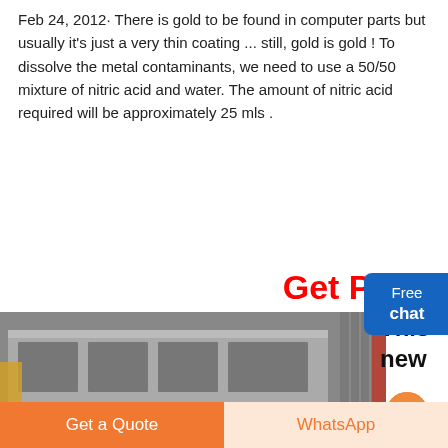Feb 24, 2012· There is gold to be found in computer parts but usually it's just a very thin coating ... still, gold is gold ! To dissolve the metal contaminants, we need to use a 50/50 mixture of nitric acid and water. The amount of nitric acid required will be approximately 25 mls .
[Figure (other): Blue 'Free chat' button widget on right side of page with a person illustration]
Get Price
[Figure (photo): Industrial machinery or equipment, appears to be metal processing or manufacturing machines]
This new
Get a Quote
WhatsApp